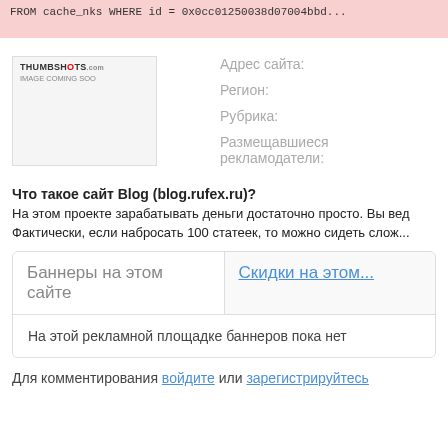FROM cache_nks WHERE id = 0x0cc01250038d07004bbd...
[Figure (screenshot): Thumbshots.com image placeholder showing 'THUMBSHOTS.com IMAGE COMING SOON']
Адрес сайта:
Регион:
Рубрика:
Размещавшиеся рекламодатели:
Что такое сайт Blog (blog.rufex.ru)?
На этом проекте зарабатывать деньги достаточно просто. Вы вед... Фактически, если набросать 100 статеек, то можно сидеть слож...
Баннеры на этом сайте
Скидки на этом...
На этой рекламной площадке баннеров пока нет
Для комментирования войдите или зарегистрируйтесь